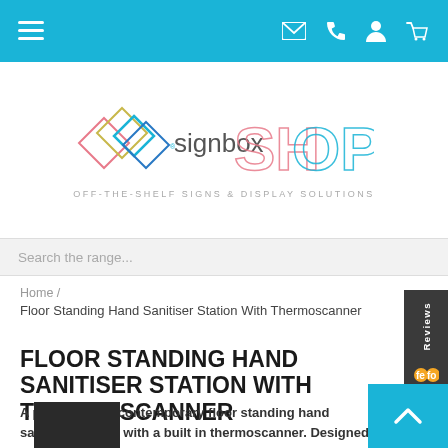Navigation bar with menu, email, phone, account, and cart icons
[Figure (logo): Signbox Shop logo with colorful geometric diamond shapes and outlined SHOP text, with tagline OFF-THE-SHELF SIGNS & DISPLAY SOLUTIONS]
Search the range...
Home / Floor Standing Hand Sanitiser Station With Thermoscanner
FLOOR STANDING HAND SANITISER STATION WITH THERMOSCANNER
A premium and contemporary floor standing hand sanitiser station with a built in thermoscanner. Designed to perfectly compliment your interior to fit in as part of your furniture.